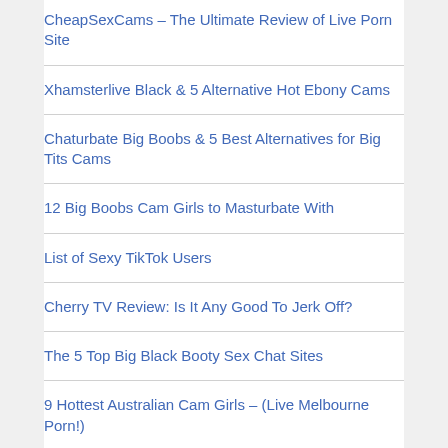CheapSexCams – The Ultimate Review of Live Porn Site
Xhamsterlive Black & 5 Alternative Hot Ebony Cams
Chaturbate Big Boobs & 5 Best Alternatives for Big Tits Cams
12 Big Boobs Cam Girls to Masturbate With
List of Sexy TikTok Users
Cherry TV Review: Is It Any Good To Jerk Off?
The 5 Top Big Black Booty Sex Chat Sites
9 Hottest Australian Cam Girls – (Live Melbourne Porn!)